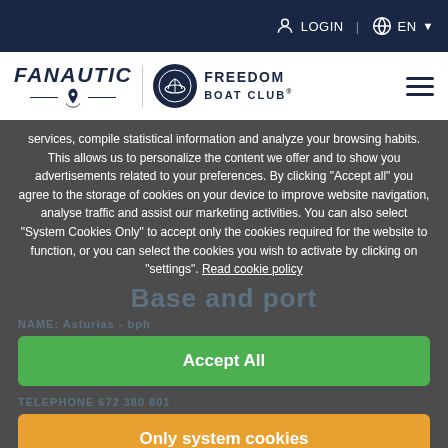LOGIN  EN
[Figure (logo): Fanautic and Freedom Boat Club logos with hamburger menu]
services, compile statistical information and analyze your browsing habits. This allows us to personalize the content we offer and to show you advertisements related to your preferences. By clicking "Accept all" you agree to the storage of cookies on your device to improve website navigation, analyse traffic and assist our marketing activities. You can also select "System Cookies Only" to accept only the cookies required for the website to function, or you can select the cookies you wish to activate by clicking on "settings". Read cookie policy
Base and port
NAME: Asturias - bph
TELEPHONE 672 380 801
«MAP»